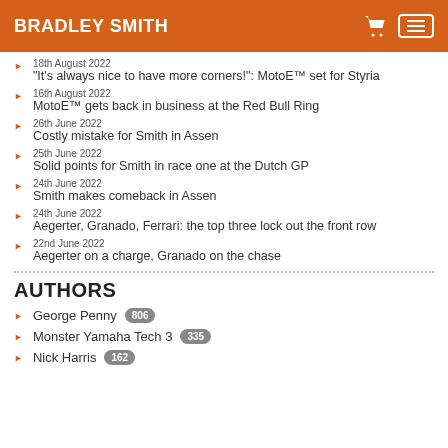BRADLEY SMITH
18th August 2022 — "It's always nice to have more corners!": MotoE™ set for Styria
16th August 2022 — MotoE™ gets back in business at the Red Bull Ring
26th June 2022 — Costly mistake for Smith in Assen
25th June 2022 — Solid points for Smith in race one at the Dutch GP
24th June 2022 — Smith makes comeback in Assen
24th June 2022 — Aegerter, Granado, Ferrari: the top three lock out the front row
22nd June 2022 — Aegerter on a charge, Granado on the chase
AUTHORS
George Penny 806
Monster Yamaha Tech 3 335
Nick Harris 162